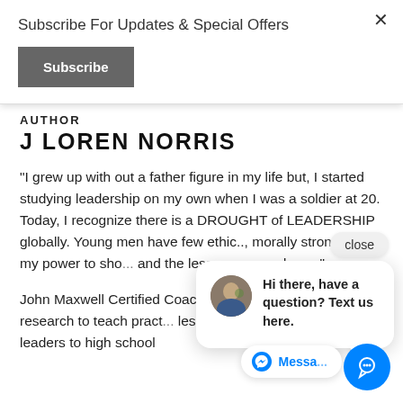Subscribe For Updates & Special Offers
Subscribe
×
AUTHOR
J LOREN NORRIS
"I grew up with out a father figure in my life but, I started studying leadership on my own when I was a soldier at 20. Today, I recognize there is a DROUGHT of LEADERSHIP globally. Young men have few ethic.., morally strong m... my power to sho... and the lessons... grandsons."
John Maxwell Certified Coach & Speake... applies life and research to teach pract... lessons from government leaders to high school
close
Hi there, have a question? Text us here.
Messa...